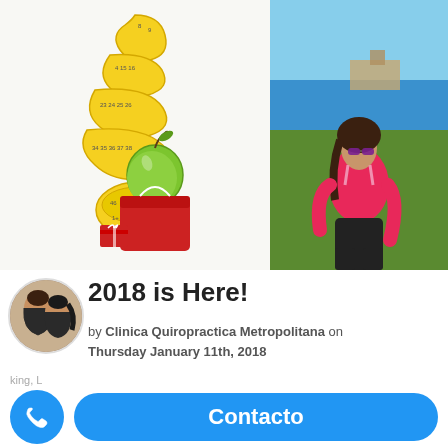[Figure (illustration): Tape measure coiled in Christmas tree shape with a green apple in a red gift bag and small red present below. Health/diet themed holiday illustration.]
[Figure (photo): Woman in pink tank top and dark pants posing outdoors near water with blue sky background.]
[Figure (photo): Circular profile photo of two women, used as social media profile picture for Clinica Quiropractica Metropolitana.]
2018 is Here!
by Clinica Quiropractica Metropolitana on Thursday January 11th, 2018
Contacto
king, L Metropolitana nuestasmeetas